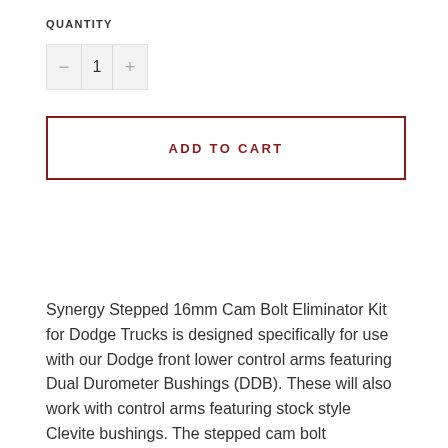QUANTITY
- 1 +
ADD TO CART
Synergy Stepped 16mm Cam Bolt Eliminator Kit for Dodge Trucks is designed specifically for use with our Dodge front lower control arms featuring Dual Durometer Bushings (DDB). These will also work with control arms featuring stock style Clevite bushings. The stepped cam bolt eliminators take the place of the